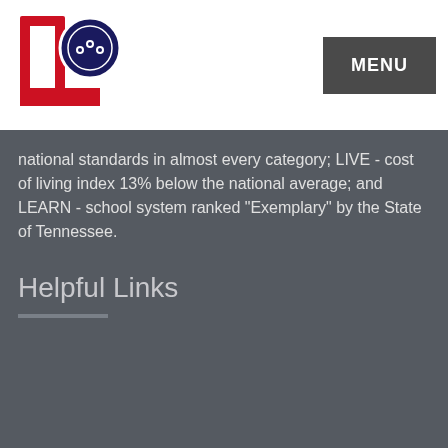MENU
national standards in almost every category; LIVE - cost of living index 13% below the national average; and LEARN - school system ranked "Exemplary" by the State of Tennessee.
Helpful Links